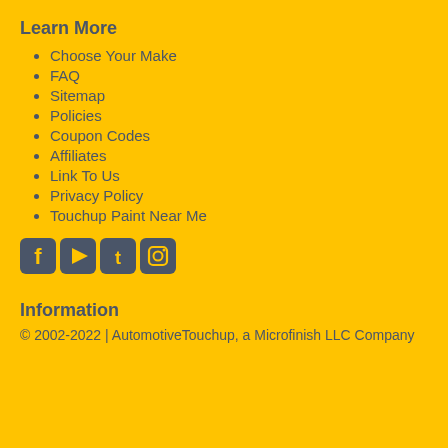Learn More
Choose Your Make
FAQ
Sitemap
Policies
Coupon Codes
Affiliates
Link To Us
Privacy Policy
Touchup Paint Near Me
[Figure (illustration): Social media icons: Facebook, YouTube, Twitter, Instagram]
Information
© 2002-2022 | AutomotiveTouchup, a Microfinish LLC Company